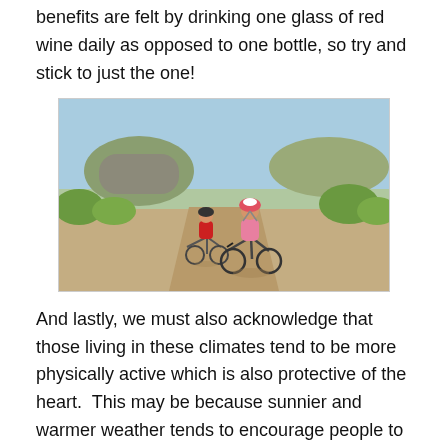benefits are felt by drinking one glass of red wine daily as opposed to one bottle, so try and stick to just the one!
[Figure (photo): Two cyclists riding mountain bikes on a dirt trail through green scrubland. A smiling woman in a pink top and bike helmet is in the foreground; a man in red is behind her.]
And lastly, we must also acknowledge that those living in these climates tend to be more physically active which is also protective of the heart.  This may be because sunnier and warmer weather tends to encourage people to live a more outdoorsy lifestyle and also enjoy sporting activities such as walking, tennis and cycling. Many occupations